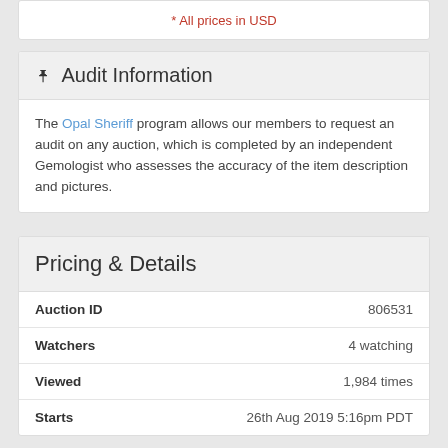* All prices in USD
Audit Information
The Opal Sheriff program allows our members to request an audit on any auction, which is completed by an independent Gemologist who assesses the accuracy of the item description and pictures.
Pricing & Details
|  |  |
| --- | --- |
| Auction ID | 806531 |
| Watchers | 4 watching |
| Viewed | 1,984 times |
| Starts | 26th Aug 2019 5:16pm PDT |
Shipping & Insurance